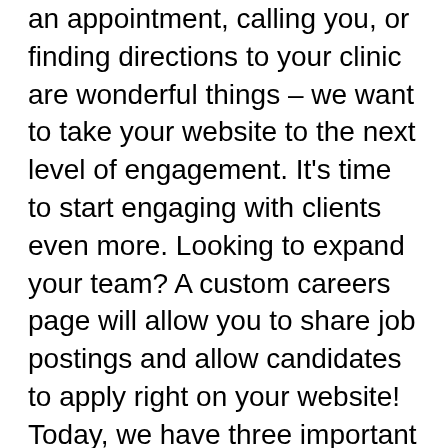an appointment, calling you, or finding directions to your clinic are wonderful things – we want to take your website to the next level of engagement. It's time to start engaging with clients even more. Looking to expand your team? A custom careers page will allow you to share job postings and allow candidates to apply right on your website! Today, we have three important pages that we think should be on your website!
1. A photo gallery/memorial page It can not be overstated – photos of happy patients and clients in your clinic on your website and social media pages are important. It allows